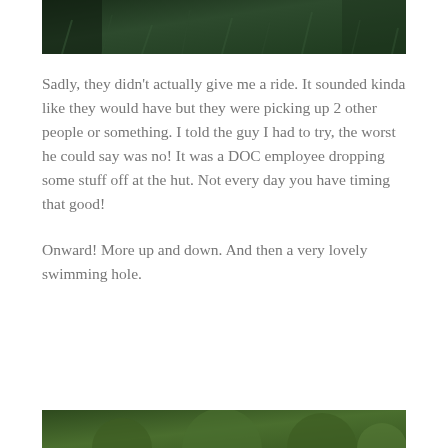[Figure (photo): Top portion of a photo showing dense dark green grass or foliage]
Sadly, they didn't actually give me a ride. It sounded kinda like they would have but they were picking up 2 other people or something. I told the guy I had to try, the worst he could say was no! It was a DOC employee dropping some stuff off at the hut. Not every day you have timing that good!
Onward! More up and down. And then a very lovely swimming hole.
[Figure (photo): Top portion of a photo showing green trees and foliage]